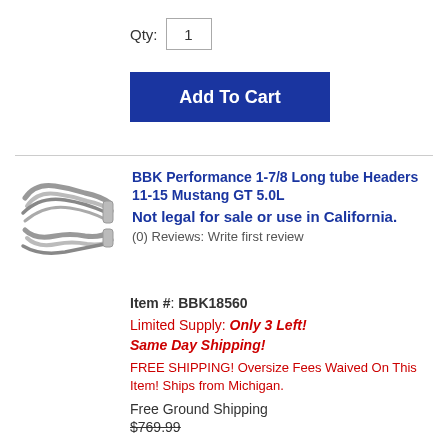Qty: 1
Add To Cart
BBK Performance 1-7/8 Long tube Headers 11-15 Mustang GT 5.0L Not legal for sale or use in California.
(0) Reviews: Write first review
Item #: BBK18560
Limited Supply: Only 3 Left!
Same Day Shipping!
FREE SHIPPING! Oversize Fees Waived On This Item! Ships from Michigan.
Free Ground Shipping
$769.99